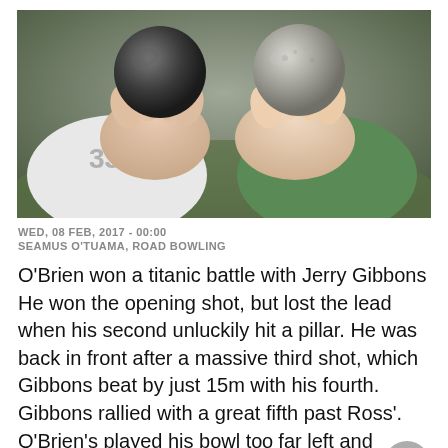[Figure (photo): Two people holding up bowling balls (a dark smooth ball and a rough grey ball) toward the camera, one person wearing a white jersey with number 33, the other wearing a green hoodie.]
WED, 08 FEB, 2017 - 00:00
SEAMUS O'TUAMA, ROAD BOWLING
O'Brien won a titanic battle with Jerry Gibbons He won the opening shot, but lost the lead when his second unluckily hit a pillar. He was back in front after a massive third shot, which Gibbons beat by just 15m with his fourth. Gibbons rallied with a great fifth past Ross'. O'Brien's played his bowl too far left and missed sight. He beat Gibbons' tip by